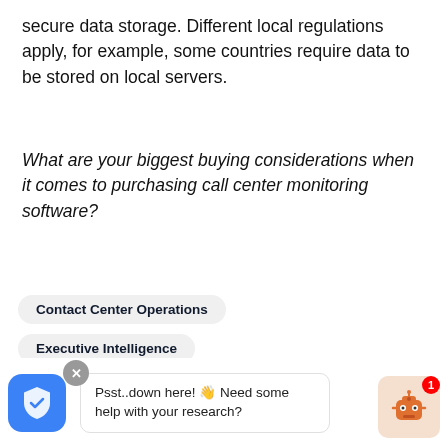secure data storage. Different local regulations apply, for example, some countries require data to be stored on local servers.
What are your biggest buying considerations when it comes to purchasing call center monitoring software?
Contact Center Operations
Executive Intelligence
Speech & Conversation Analytics
North America
EMEA
APAC
Psst..down here! 👋 Need some help with your research?